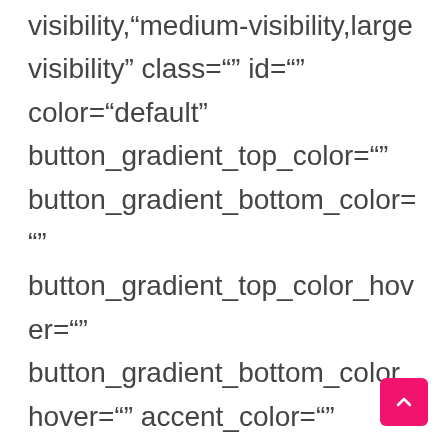visibility,"medium-visibility,large visibility" class="" id="" color="default" button_gradient_top_color="" button_gradient_bottom_color="" button_gradient_top_color_hover="" button_gradient_bottom_color_hover="" accent_color="" accent_hover_color="" type="" bevel_color="" border_width="" size="" stretch="default" icon="" icon_position="left" icon_divider="no